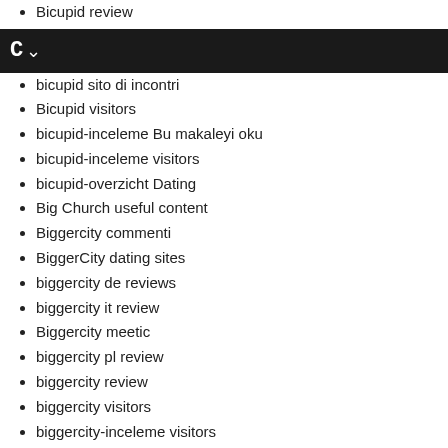Bicupid review
C~
bicupid sito di incontri
Bicupid visitors
bicupid-inceleme Bu makaleyi oku
bicupid-inceleme visitors
bicupid-overzicht Dating
Big Church useful content
Biggercity commenti
BiggerCity dating sites
biggercity de reviews
biggercity it review
Biggercity meetic
biggercity pl review
biggercity review
biggercity visitors
biggercity-inceleme visitors
biggercity-overzicht online dating
biggercity-recenze Reddit
Biker Dating Apps reddit
Biker Dating conseils pour un
Biker Dating hookup
Biker Dating Sites online
Biker Dating Sites site